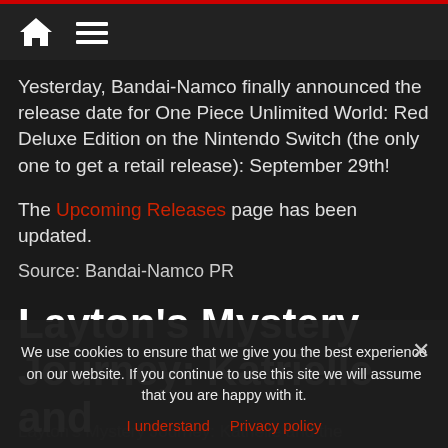[Home icon] [Menu icon]
Yesterday, Bandai-Namco finally announced the release date for One Piece Unlimited World: Red Deluxe Edition on the Nintendo Switch (the only one to get a retail release): September 29th!
The Upcoming Releases page has been updated.
Source: Bandai-Namco PR
Layton's Mystery Journey: Katrielle and the Millionaires' Conspiracy
We use cookies to ensure that we give you the best experience on our website. If you continue to use this site we will assume that you are happy with it.
I understand   Privacy policy
Layton's Mystery Journey: Katrielle and the